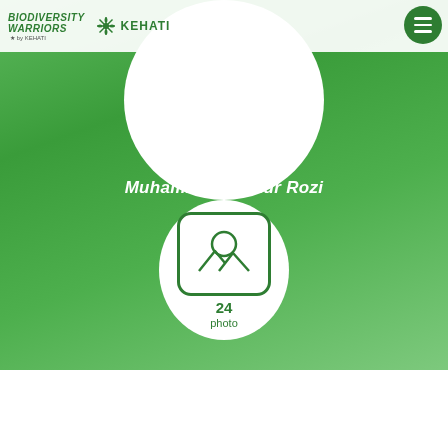[Figure (logo): Biodiversity Warriors by KEHATI logo with green snowflake/star symbol and KEHATI text]
Muhammad Fathur Rozi
[Figure (illustration): Photo/image placeholder icon inside a rounded square with mountain/landscape symbol, showing 24 photos count below]
24
photo